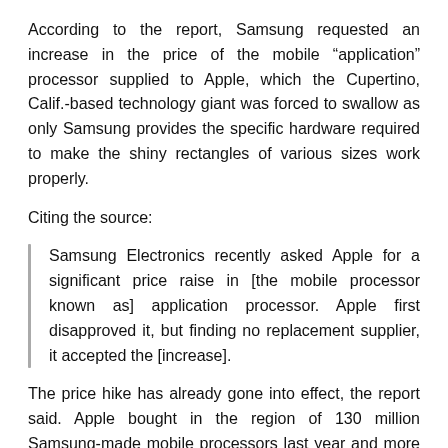According to the report, Samsung requested an increase in the price of the mobile "application" processor supplied to Apple, which the Cupertino, Calif.-based technology giant was forced to swallow as only Samsung provides the specific hardware required to make the shiny rectangles of various sizes work properly.
Citing the source:
Samsung Electronics recently asked Apple for a significant price raise in [the mobile processor known as] application processor. Apple first disapproved it, but finding no replacement supplier, it accepted the [increase].
The price hike has already gone into effect, the report said. Apple bought in the region of 130 million Samsung-made mobile processors last year and more than 200 million chips this year to keep up with demand for the iPhone 5 and the new iPads, such as